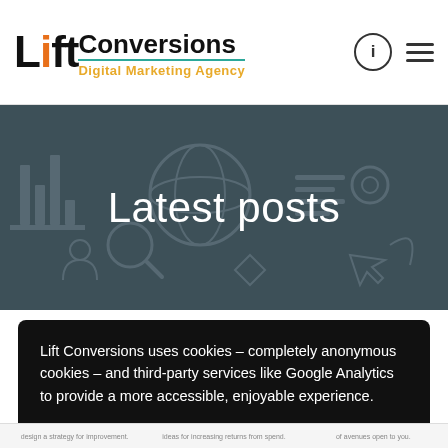Lift Conversions Digital Marketing Agency
Latest posts
Lift Conversions uses cookies – completely anonymous cookies – and third-party services like Google Analytics to provide a more accessible, enjoyable experience.
My settings
Accept